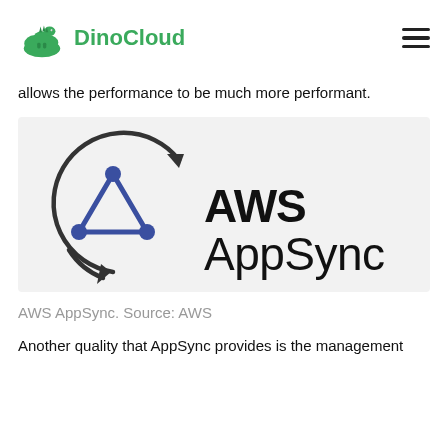DinoCloud
allows the performance to be much more performant.
[Figure (logo): AWS AppSync logo: a circular arrow around a triangle with blue nodes, followed by the text 'AWS AppSync' in black.]
AWS AppSync. Source: AWS
Another quality that AppSync provides is the management